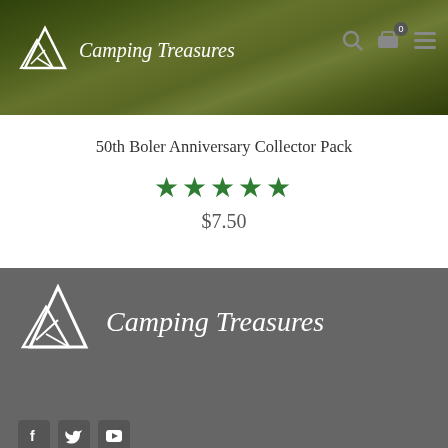Camping Treasures
50th Boler Anniversary Collector Pack
★★★★★
$7.50
ADD TO CART
[Figure (logo): Camping Treasures logo with mountain icon and italic text on dark grey footer background]
[Figure (other): Social media icons: Facebook, Twitter, YouTube on dark grey footer]